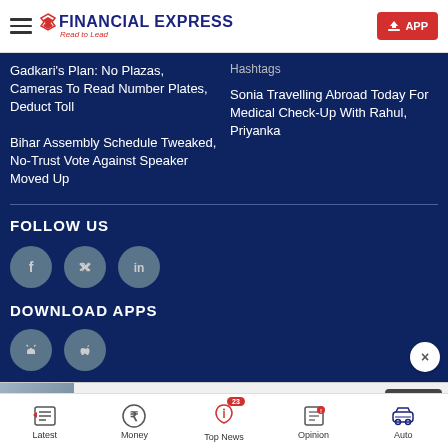FINANCIAL EXPRESS - Read to Lead
Hashtags
Gadkari's Plan: No Plazas, Cameras To Read Number Plates, Deduct Toll
Sonia Travelling Abroad Today For Medical Check-Up With Rahul, Priyanka
Bihar Assembly Schedule Tweaked, No-Trust Vote Against Speaker Moved Up
FOLLOW US
DOWNLOAD APPS
[Figure (screenshot): Advertisement banner for Yahoo Search - Increase Your Home Value with Open button]
Latest | Money | Top News 23 | Opinion | Auto